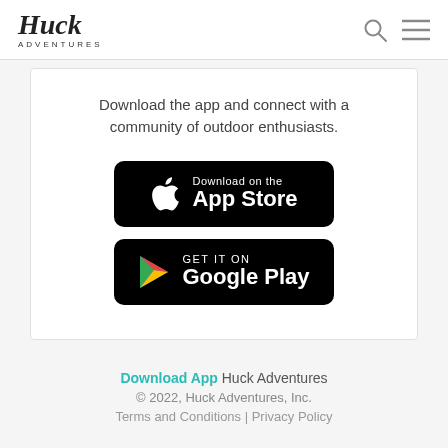Huck Adventures
Download the app and connect with a community of outdoor enthusiasts.
[Figure (other): Download on the App Store badge — black rounded rectangle with Apple logo and text 'Download on the App Store']
[Figure (other): Get it on Google Play badge — black rounded rectangle with Google Play triangle logo and text 'GET IT ON Google Play']
Download App Huck Adventures © 2022, Huck Adventures, Inc. Terms and Conditions | Privacy Policy